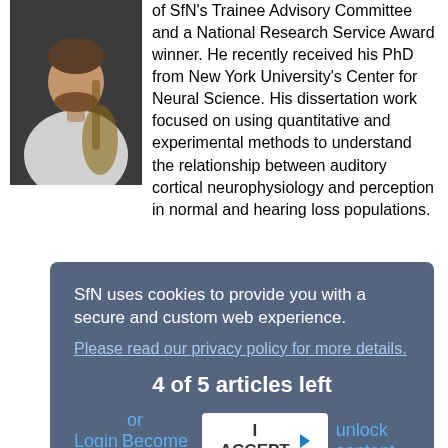of SfN's Trainee Advisory Committee and a National Research Service Award winner. He recently received his PhD from New York University's Center for Neural Science. His dissertation work focused on using quantitative and experimental methods to understand the relationship between auditory cortical neurophysiology and perception in normal and hearing loss populations.
SfN uses cookies to provide you with a secure and custom web experience.
Please read our privacy policy for more details.
4 of 5 articles left
Login or Become a Member to unlock content
Michael Miller, PhD